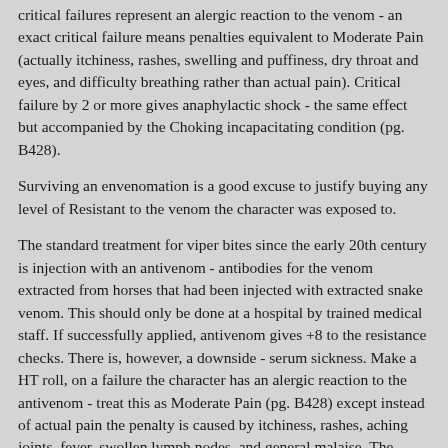critical failures represent an alergic reaction to the venom - an exact critical failure means penalties equivalent to Moderate Pain (actually itchiness, rashes, swelling and puffiness, dry throat and eyes, and difficulty breathing rather than actual pain). Critical failure by 2 or more gives anaphylactic shock - the same effect but accompanied by the Choking incapacitating condition (pg. B428).
Surviving an envenomation is a good excuse to justify buying any level of Resistant to the venom the character was exposed to.
The standard treatment for viper bites since the early 20th century is injection with an antivenom - antibodies for the venom extracted from horses that had been injected with extracted snake venom. This should only be done at a hospital by trained medical staff. If successfully applied, antivenom gives +8 to the resistance checks. There is, however, a downside - serum sickness. Make a HT roll, on a failure the character has an alergic reaction to the antivenom - treat this as Moderate Pain (pg. B428) except instead of actual pain the penalty is caused by itchiness, rashes, aching joints, fever, swollen lymph nodes, and general malaise. The effects begin 2d days after the first dose of antivenom and last for one day plus an extra day for every point by which the roll failed. On a failure by 5 or more, the character goes into anaphylactic shock within minutes after the dose is administered - treat as